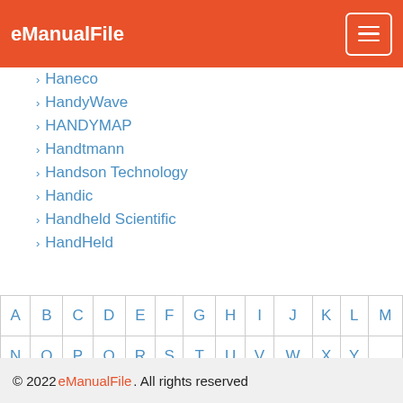eManualFile
Haneco
HandyWave
HANDYMAP
Handtmann
Handson Technology
Handic
Handheld Scientific
HandHeld
| A | B | C | D | E | F | G | H | I | J | K | L | M |
| N | O | P | Q | R | S | T | U | V | W | X | Y |
| Z |
© 2022 eManualFile. All rights reserved